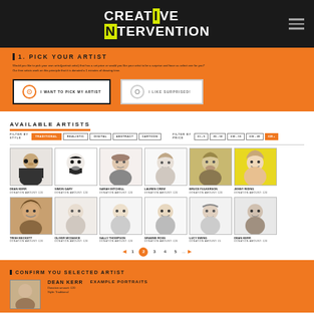[Figure (logo): Creative Intervention logo in bold black and yellow on dark background with hamburger menu]
1. PICK YOUR ARTIST
Would you like to pick your own artist(portrait artist) that has a set price or would you like your artist to be a surprise and have us select one for you? Our free artists work on this principle that it is donated a 1 minutes of drawing time.
I WANT TO PICK MY ARTIST
I LIKE SURPRISED!
AVAILABLE ARTISTS
FILTER BY STYLE: TRADITIONAL  REALISTIC  DIGITAL  ABSTRACT  CARTOON
FILTER BY PRICE: £1-5  £5-10  £10-15  £15-20  £20+
[Figure (illustration): Grid of artist portrait illustrations - Row 1: Dean Kerr, Simon Gary, Sarah Mitchell, Lauren Crew, Bruce Fulkerson, Jenny Riding]
DEAN KERR DONATION AMOUNT: £20
SIMON GARY DONATION AMOUNT: £20
SARAH MITCHELL DONATION AMOUNT: £20
LAUREN CREW DONATION AMOUNT: £20
BRUCE FULKERSON DONATION AMOUNT: £20
JENNY RIDING DONATION AMOUNT: £20
[Figure (illustration): Grid of artist portrait illustrations - Row 2: Trish Beckett, Oliver Mcdance, Sally Thompson, Graeme Ross, Lucy Ewing, Dean Kerr]
TRISH BECKETT DONATION AMOUNT: £20
OLIVER MCDANCE DONATION AMOUNT: £20
SALLY THOMPSON DONATION AMOUNT: £20
GRAEME ROSS DONATION AMOUNT: £20
LUCY EWING DONATION AMOUNT: £5
DEAN KERR DONATION AMOUNT: £20
Pagination: 1 2 3 4 5 ...
CONFIRM YOU SELECTED ARTIST
DEAN KERR
EXAMPLE PORTRAITS